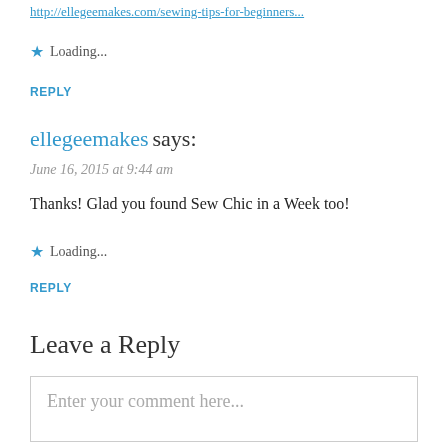http://... (truncated link)
Loading...
REPLY
ellegeemakes says:
June 16, 2015 at 9:44 am
Thanks! Glad you found Sew Chic in a Week too!
Loading...
REPLY
Leave a Reply
Enter your comment here...